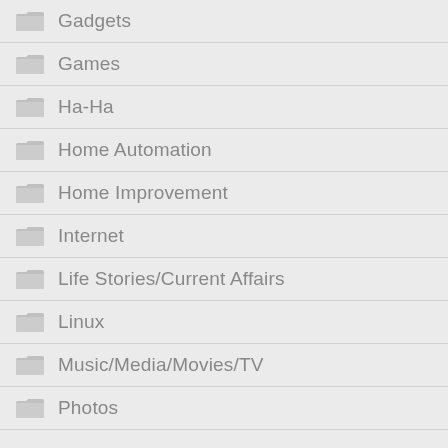Gadgets
Games
Ha-Ha
Home Automation
Home Improvement
Internet
Life Stories/Current Affairs
Linux
Music/Media/Movies/TV
Photos